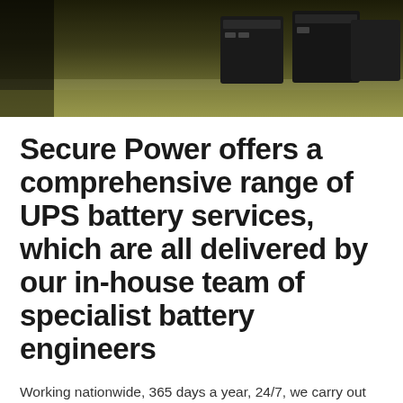[Figure (photo): Photograph of UPS battery units on a surface with a yellow-green tinted background, dark equipment visible in upper right]
Secure Power offers a comprehensive range of UPS battery services, which are all delivered by our in-house team of specialist battery engineers
Working nationwide, 365 days a year, 24/7, we carry out all types of battery works from routine, preventative battery maintenance, battery replacements and disposals to UPS